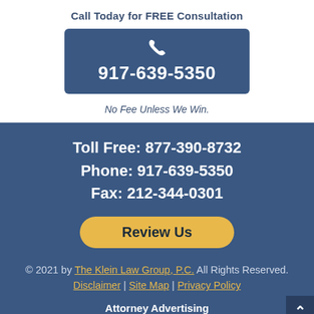Call Today for FREE Consultation
[Figure (infographic): Blue rounded rectangle button with phone icon and number 917-639-5350]
No Fee Unless We Win.
Toll Free: 877-390-8732
Phone: 917-639-5350
Fax: 212-344-0301
[Figure (infographic): Yellow rounded pill-shaped button with text 'Review Us']
© 2021 by The Klein Law Group, P.C. All Rights Reserved. Disclaimer | Site Map | Privacy Policy
Attorney Advertising